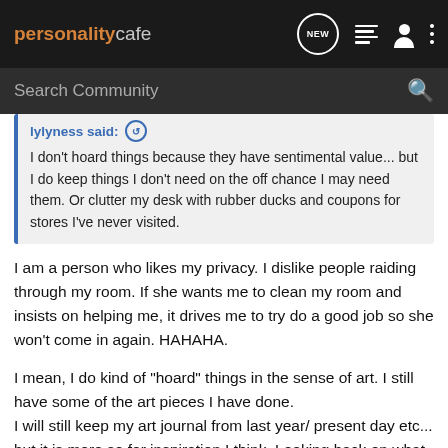personalitycafe
Search Community
lylyness said:
I don't hoard things because they have sentimental value... but I do keep things I don't need on the off chance I may need them. Or clutter my desk with rubber ducks and coupons for stores I've never visited.
I am a person who likes my privacy. I dislike people raiding through my room. If she wants me to clean my room and insists on helping me, it drives me to try do a good job so she won't come in again. HAHAHA.
I mean, I do kind of "hoard" things in the sense of art. I still have some of the art pieces I have done.
I will still keep my art journal from last year/ present day etc...
but it is more so for inspiration I think. Looking back on what my psych was back then, because the theme of the picture reflects